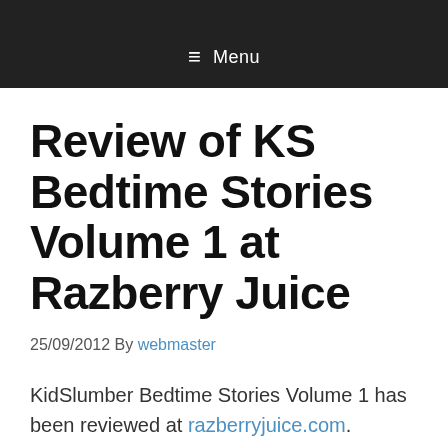≡ Menu
Review of KS Bedtime Stories Volume 1 at Razberry Juice
25/09/2012 By webmaster
KidSlumber Bedtime Stories Volume 1 has been reviewed at razberryjuice.com.